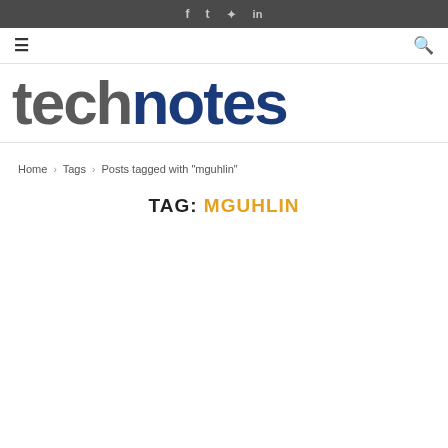f  t  p  in
[Figure (logo): technotes logo with 'tech' in dark gray and 'notes' in dark blue, large bold sans-serif text]
Home > Tags > Posts tagged with "mguhlin"
TAG: MGUHLIN